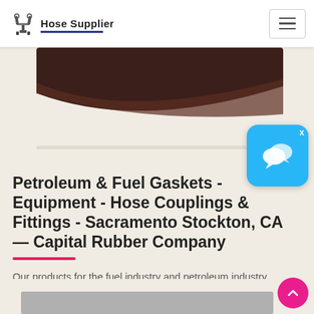Hose Supplier
[Figure (photo): Close-up photo of dark brown rubber hose material on a light beige/cream background, partially visible at top of page]
[Figure (screenshot): Live chat widget icon - blue rounded square with white speech bubble icons]
Petroleum & Fuel Gaskets - Equipment - Hose Couplings & Fittings - Sacramento Stockton, CA — Capital Rubber Company
Our products for the fuel industry and petroleum industry include petroleum hose, tank truck hose, vapor recovery hose, hydraulic hose, fuel dispensing nozzles, fuel and...
[Figure (photo): Partially visible product image at bottom of page]